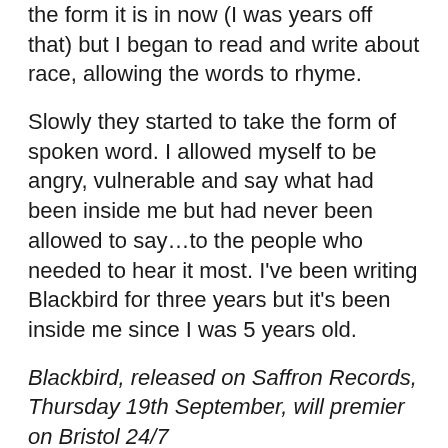the form it is in now (I was years off that) but I began to read and write about race, allowing the words to rhyme.
Slowly they started to take the form of spoken word. I allowed myself to be angry, vulnerable and say what had been inside me but had never been allowed to say…to the people who needed to hear it most. I've been writing Blackbird for three years but it's been inside me since I was 5 years old.
Blackbird, released on Saffron Records, Thursday 19th September, will premier on Bristol 24/7